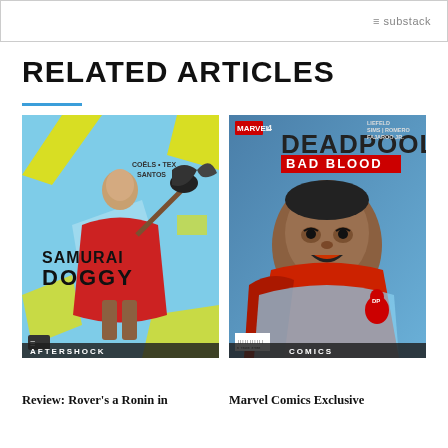substack
RELATED ARTICLES
[Figure (photo): Comic book cover: Samurai Doggy by Aftershock Comics, featuring an anthropomorphic dog warrior in a red cloak with a large bird perched on a weapon, on a cyan/blue background with yellow geometric shapes. Authors: Coëls, Tex, Santos. Category badge: AFTERSHOCK]
[Figure (photo): Comic book cover: Deadpool Bad Blood #4 by Marvel Comics, featuring a muscular dark-skinned man in a red cape shouting, with Deadpool visible in the background. Authors: Liefeld, Sims, Romero, Fajaroo Jr. Category badge: COMICS]
Review: Rover's a Ronin in
Marvel Comics Exclusive